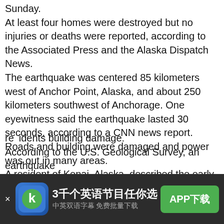Sunday.
At least four homes were destroyed but no injuries or deaths were reported, according to the Associated Press and the Alaska Dispatch News.
The earthquake was centered 85 kilometers west of Anchor Point, Alaska, and about 250 kilometers southwest of Anchorage. One eyewitness said the earthquake lasted 30 seconds, according to a CNN news report.
Roads and building were damaged and power was out in many areas.
A resident of Kenai, Alaska, described the early morning quake.
"It started out as a shaking, and it seemed very much like a normal earthquake," he said. "But then it started to feel like a normal swaying. It was unsettling. Some things got knocked over, but there was no damage."
Aftershocks followed the quake, including one of 4.7 magnitude felt in Anchorage and Juneau. Anchorage residents building damage.
According to the U.S. Geological Survey, an earthquake
[Figure (other): App advertisement banner with Koolearn/K logo icon, Chinese text '3千个英语节目任你选' (3000 English programs to choose from), subtitle '中英双语字幕 免费批量下载' (Chinese-English bilingual subtitles, free batch download), and a green 'APP下载' (APP Download) button.]